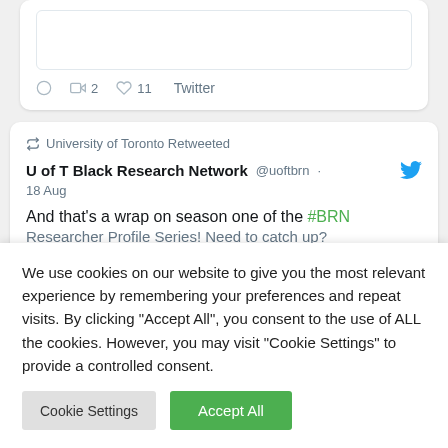[Figure (screenshot): Top tweet card showing image placeholder, retweet count 2, like count 11, and Twitter link]
[Figure (screenshot): Second tweet card: University of Toronto Retweeted, U of T Black Research Network @uoftbrn, 18 Aug, tweet text beginning 'And that's a wrap on season one of the #BRN Researcher Profile Series! Need to catch up?']
We use cookies on our website to give you the most relevant experience by remembering your preferences and repeat visits. By clicking "Accept All", you consent to the use of ALL the cookies. However, you may visit "Cookie Settings" to provide a controlled consent.
Cookie Settings | Accept All